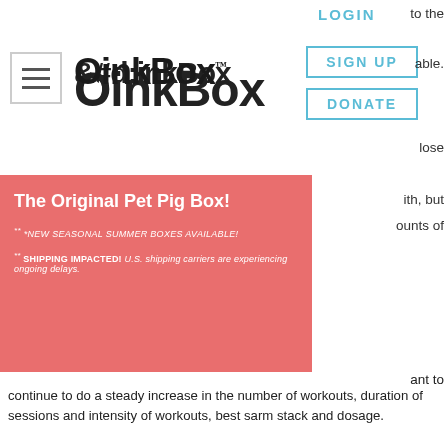[Figure (screenshot): OinkBox website header with hamburger menu, OinkBox logo, LOGIN text, SIGN UP button, DONATE button]
[Figure (screenshot): OinkBox salmon/coral banner with text: The Original Pet Pig Box!, ** *NEW SEASONAL SUMMER BOXES AVAILABLE!, ** SHIPPING IMPACTED! U.S. shipping carriers are experiencing ongoing delays.]
to the
able.
lose
ith, but
ounts of
ant to continue to do a steady increase in the number of workouts, duration of sessions and intensity of workouts, best sarm stack and dosage.
You can also use one tool to do all of this: a smartphone apps like Fitbit, Jawbone, RunKeeper, and Nike+. You can use this app to keep track of your workouts, and also track how frequently you completed them and how much they cost you.